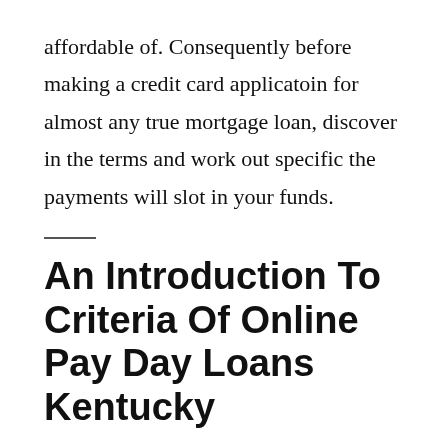affordable of. Consequently before making a credit card applicatoin for almost any true mortgage loan, discover in the terms and work out specific the payments will slot in your funds.
An Introduction To Criteria Of Online Pay Day Loans Kentucky
Our mortgage platform just isn't tough to use